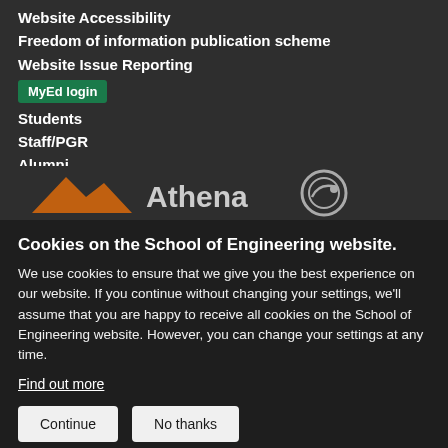Website Accessibility
Freedom of information publication scheme
Website Issue Reporting
MyEd login
Students
Staff/PGR
Alumni
[Figure (logo): Athena Swan logo with orange mountain graphic and circular badge on dark background]
Cookies on the School of Engineering website.
We use cookies to ensure that we give you the best experience on our website. If you continue without changing your settings, we'll assume that you are happy to receive all cookies on the School of Engineering website. However, you can change your settings at any time.
Find out more
Continue   No thanks